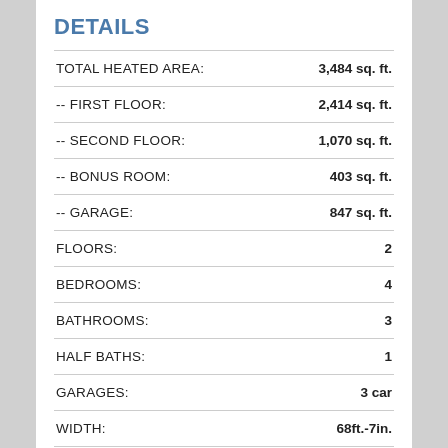DETAILS
|  |  |
| --- | --- |
| TOTAL HEATED AREA: | 3,484 sq. ft. |
| -- FIRST FLOOR: | 2,414 sq. ft. |
| -- SECOND FLOOR: | 1,070 sq. ft. |
| -- BONUS ROOM: | 403 sq. ft. |
| -- GARAGE: | 847 sq. ft. |
| FLOORS: | 2 |
| BEDROOMS: | 4 |
| BATHROOMS: | 3 |
| HALF BATHS: | 1 |
| GARAGES: | 3 car |
| WIDTH: | 68ft.-7in. |
| DEPTH: | 56ft.-8in. |